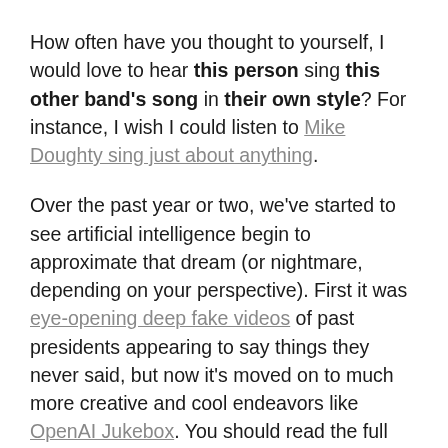How often have you thought to yourself, I would love to hear this person sing this other band's song in their own style? For instance, I wish I could listen to Mike Doughty sing just about anything.
Over the past year or two, we've started to see artificial intelligence begin to approximate that dream (or nightmare, depending on your perspective). First it was eye-opening deep fake videos of past presidents appearing to say things they never said, but now it's moved on to much more creative and cool endeavors like OpenAI Jukebox. You should read the full description on the site, but essentially they are training models to identify everything that goes into a song: instruments, lyrics, musical style, and a whole lot more. The models are primitive for now, but even at this early stage, they can start recombining things in interesting ways like having Ella Fitzgerald sing a Prince song but